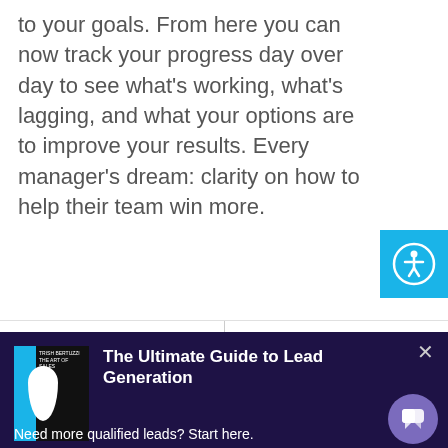to your goals. From here you can now track your progress day over day to see what's working, what's lagging, and what your options are to improve your results. Every manager's dream: clarity on how to help their team win more.
[Figure (illustration): Cyan/blue square with white circle accessibility icon (person with outstretched arms inside circle), positioned at right edge]
PREVIOUS — The Myths of Outbound Le...
NEXT — How Much Should You Pay...
[Figure (illustration): Dark navy promotional banner for 'The Ultimate Guide to Lead Generation' with book cover image on left showing blue and white design on black background, close X button top right, purple chat bubble button bottom right, and tagline 'Need more qualified leads? Start here.']
The Ultimate Guide to Lead Generation
Need more qualified leads? Start here.